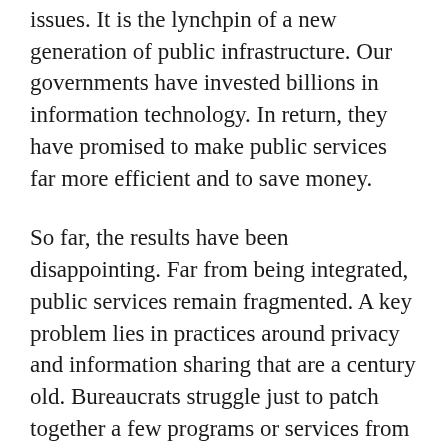issues. It is the lynchpin of a new generation of public infrastructure. Our governments have invested billions in information technology. In return, they have promised to make public services far more efficient and to save money.
So far, the results have been disappointing. Far from being integrated, public services remain fragmented. A key problem lies in practices around privacy and information sharing that are a century old. Bureaucrats struggle just to patch together a few programs or services from different departments and governments.
They need new rules that allow them to link and use information in new ways. But to get that, we need a public discussion of the issues. That is the responsibility of the politicians. So where are they?